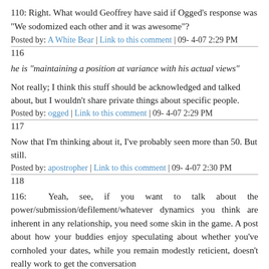110: Right. What would Geoffrey have said if Ogged's response was "We sodomized each other and it was awesome"?
Posted by: A White Bear | Link to this comment | 09- 4-07 2:29 PM
116
he is "maintaining a position at variance with his actual views"
Not really; I think this stuff should be acknowledged and talked about, but I wouldn't share private things about specific people.
Posted by: ogged | Link to this comment | 09- 4-07 2:29 PM
117
Now that I'm thinking about it, I've probably seen more than 50. But still.
Posted by: apostropher | Link to this comment | 09- 4-07 2:30 PM
118
116: Yeah, see, if you want to talk about the power/submission/defilement/whatever dynamics you think are inherent in any relationship, you need some skin in the game. A post about how your buddies enjoy speculating about whether you've cornholed your dates, while you remain modestly reticient, doesn't really work to get the conversation